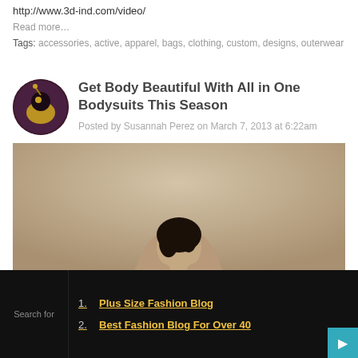http://www.3d-ind.com/video/
Read more…
Tags: accessories, active, apparel, bags, clothing, custom, designs, outerwear
Get Body Beautiful With All in One Bodysuits This Season
Posted by Susannah Perez on March 7, 2013 at 6:22am
[Figure (photo): Fashion photo of a person from behind with dark hair, wearing a bodysuit, against a beige/taupe background]
Search for
Plus Size Fashion Blog
Best Fashion Blog For Over 40